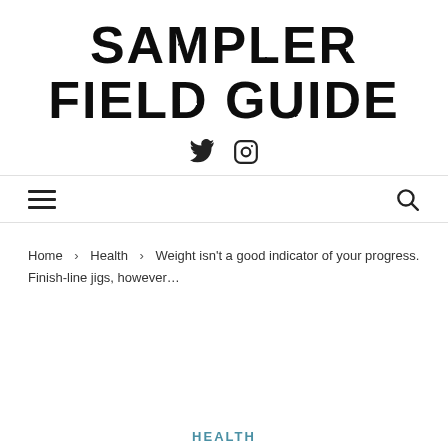SAMPLER FIELD GUIDE
[Figure (logo): Social media icons: Twitter bird and Instagram camera]
[Figure (infographic): Navigation bar with hamburger menu icon on the left and search icon on the right]
Home > Health > Weight isn't a good indicator of your progress. Finish-line jigs, however...
HEALTH